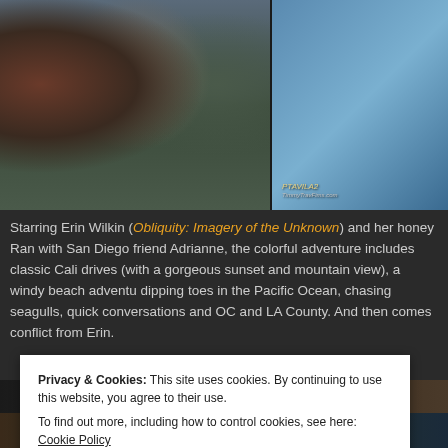[Figure (photo): Two photos side by side: left shows people outdoors near waterfront, right shows a smiling young man with blue sky background and text overlay reading 'PTAVILA2' and website]
Starring Erin Wilkin (Obliquity: Imagery of the Unknown) and her honey Ran with San Diego friend Adrianne, the colorful adventure includes classic Cali drives (with a gorgeous sunset and mountain view), a windy beach adventu dipping toes in the Pacific Ocean, chasing seagulls, quick conversations and OC and LA County. And then comes conflict from Erin.
[Figure (screenshot): Video thumbnail bar showing 'My Vacation In LA 2 - SEAL BEACH LONG B...' with multiple thumbnail images]
Privacy & Cookies: This site uses cookies. By continuing to use this website, you agree to their use.
To find out more, including how to control cookies, see here: Cookie Policy
Close and accept